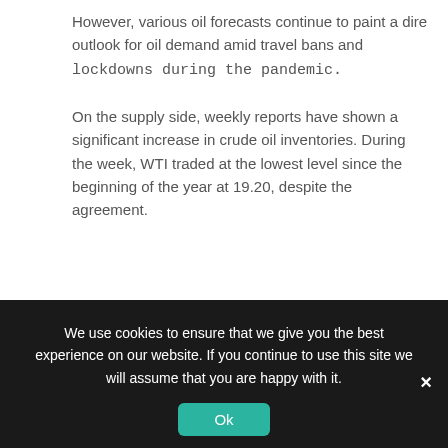However, various oil forecasts continue to paint a dire outlook for oil demand amid travel bans and lockdowns during the pandemic.

On the supply side, weekly reports have shown a significant increase in crude oil inventories. During the week, WTI traded at the lowest level since the beginning of the year at 19.20, despite the agreement.
[Figure (continuous-plot): Bloomberg/financial terminal screenshot showing a WTI oil price candlestick chart (YTD view). The chart shows a steep decline from ~64 in January 2020 to ~19.20 by April 2020. Legend shows: Last Price 19.98, High on 01/08/20 64.39, Average 42.36, Low on 04/15/20 19.20. Chart controls visible at top: 1D, 3D, 1M, 6M, YTD, 1Y, 5Y, Max, Daily, Table, Chart Content. Y-axis shows values around 60 and 50.]
We use cookies to ensure that we give you the best experience on our website. If you continue to use this site we will assume that you are happy with it.